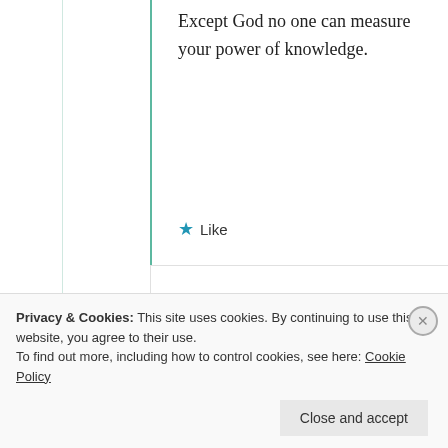Except God no one can measure your power of knowledge.
Like
[Figure (illustration): Circular avatar icon with gold/olive color showing a star-like badge design]
mildredprince welch
25th Jun 2021 at 6:53 pm
Privacy & Cookies: This site uses cookies. By continuing to use this website, you agree to their use. To find out more, including how to control cookies, see here: Cookie Policy
Close and accept